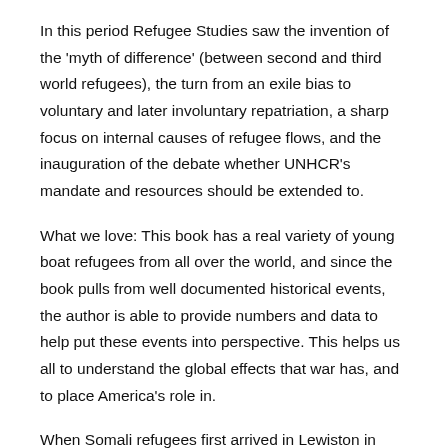In this period Refugee Studies saw the invention of the 'myth of difference' (between second and third world refugees), the turn from an exile bias to voluntary and later involuntary repatriation, a sharp focus on internal causes of refugee flows, and the inauguration of the debate whether UNHCR's mandate and resources should be extended to.
What we love: This book has a real variety of young boat refugees from all over the world, and since the book pulls from well documented historical events, the author is able to provide numbers and data to help put these events into perspective. This helps us all to understand the global effects that war has, and to place America's role in.
When Somali refugees first arrived in Lewiston in FebruaryMaine was the whitest and oldest state in the nation. But it offered safety, access to services, and a lower cost of living.
With the number of displaced people in the world at more than 60 million in – a total that counts both those living inside and outside of their home countries – the plight of refugees has gained now